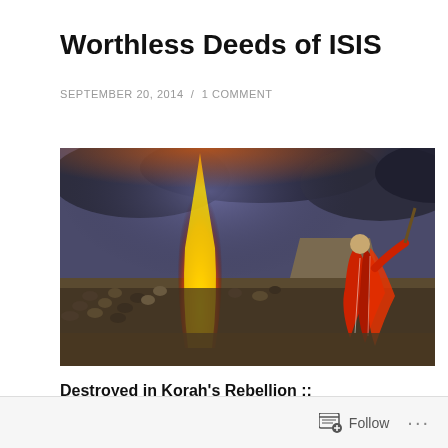Worthless Deeds of ISIS
SEPTEMBER 20, 2014 / 1 COMMENT
[Figure (illustration): Dramatic illustration of a large crowd of people facing a massive pillar of fire rising into dark storm clouds over a desert landscape, with a robed figure in red garments standing to the right with arms raised.]
Destroyed in Korah's Rebellion ::
Follow ...